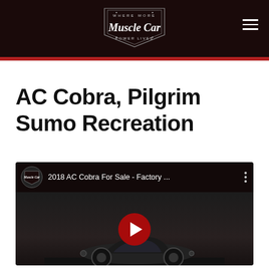[Figure (logo): Muscle Car website logo — white retro badge on dark background with decorative chevron shape]
AC Cobra, Pilgrim Sumo Recreation
[Figure (screenshot): YouTube video thumbnail showing a dark AC Cobra sports car with title '2018 AC Cobra For Sale - Factory ...' and a red play button overlay]